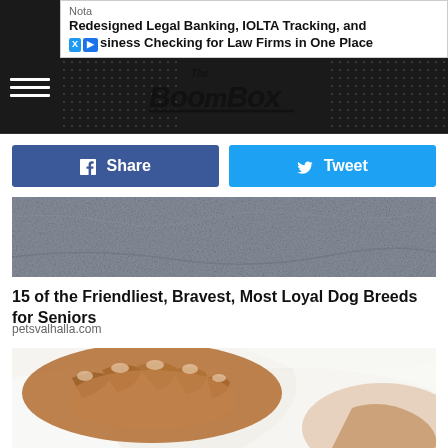[Figure (screenshot): Advertisement banner: 'Nota - Redesigned Legal Banking, IOLTA Tracking, and Business Checking for Law Firms in One Place']
[Figure (logo): The Boombox website logo in graffiti/handwritten style on dark header bar]
[Figure (screenshot): Facebook Share button (blue) and Twitter Tweet button (light blue)]
[Figure (photo): Partial dog image, gray textured fur/rock surface]
15 of the Friendliest, Bravest, Most Loyal Dog Breeds for Seniors
petsvalhalla.com
[Figure (photo): Close-up photo of a person's hand resting on their torso/stomach area, wearing a white tank top]